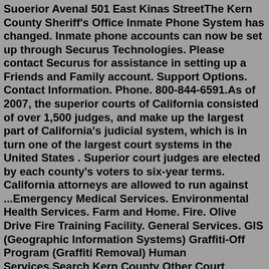Suoerior Avenal 501 East Kinas StreetThe Kern County Sheriff's Office Inmate Phone System has changed. Inmate phone accounts can now be set up through Securus Technologies. Please contact Securus for assistance in setting up a Friends and Family account. Support Options. Contact Information. Phone. 800-844-6591.As of 2007, the superior courts of California consisted of over 1,500 judges, and make up the largest part of California's judicial system, which is in turn one of the largest court systems in the United States . Superior court judges are elected by each county's voters to six-year terms. California attorneys are allowed to run against ...Emergency Medical Services. Environmental Health Services. Farm and Home. Fire. Olive Drive Fire Training Facility. General Services. GIS (Geographic Information Systems) Graffiti-Off Program (Graffiti Removal) Human Services.Search Kern County Other Court Records for Free. Lookup Other Cases, Access Case Online, Find Docket Information, View Case Summary, Check Case Status, Download Court